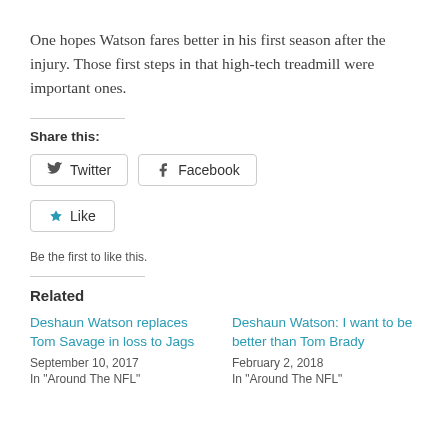One hopes Watson fares better in his first season after the injury. Those first steps in that high-tech treadmill were important ones.
Share this:
Twitter Facebook
Like
Be the first to like this.
Related
Deshaun Watson replaces Tom Savage in loss to Jags
September 10, 2017
In "Around The NFL"
Deshaun Watson: I want to be better than Tom Brady
February 2, 2018
In "Around The NFL"